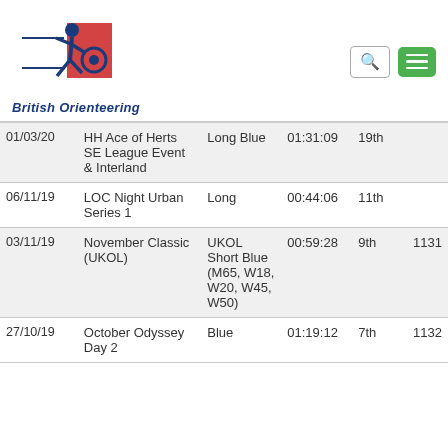[Figure (logo): British Orienteering logo with running figure and text 'British Orienteering']
| Date | Event | Course | Time | Pos | Score |
| --- | --- | --- | --- | --- | --- |
| 01/03/20 | HH Ace of Herts SE League Event & Interland | Long Blue | 01:31:09 | 19th |  |
| 06/11/19 | LOC Night Urban Series 1 | Long | 00:44:06 | 11th |  |
| 03/11/19 | November Classic (UKOL) | UKOL Short Blue (M65, W18, W20, W45, W50) | 00:59:28 | 9th | 1131 |
| 27/10/19 | October Odyssey Day 2 | Blue | 01:19:12 | 7th | 1132 |